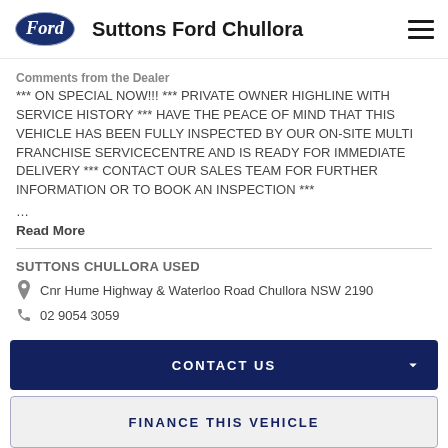Suttons Ford Chullora
Comments from the Dealer
*** ON SPECIAL NOW!!! *** PRIVATE OWNER HIGHLINE WITH SERVICE HISTORY *** HAVE THE PEACE OF MIND THAT THIS VEHICLE HAS BEEN FULLY INSPECTED BY OUR ON-SITE MULTI FRANCHISE SERVICECENTRE AND IS READY FOR IMMEDIATE DELIVERY *** CONTACT OUR SALES TEAM FOR FURTHER INFORMATION OR TO BOOK AN INSPECTION ***
...
Read More
SUTTONS CHULLORA USED
Cnr Hume Highway & Waterloo Road Chullora NSW 2190
02 9054 3059
CONTACT US
FINANCE THIS VEHICLE